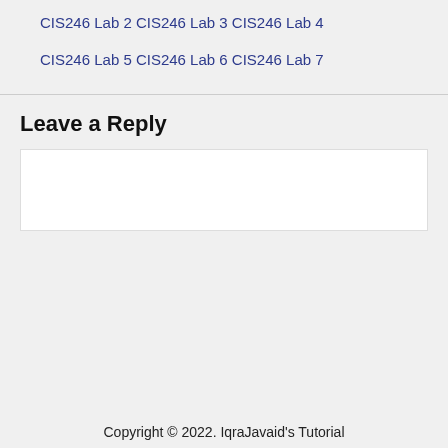CIS246 Lab 2
CIS246 Lab 3
CIS246 Lab 4
CIS246 Lab 5
CIS246 Lab 6
CIS246 Lab 7
Leave a Reply
Copyright © 2022. IqraJavaid's Tutorial